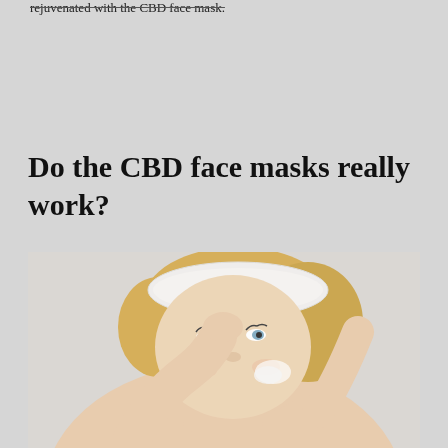rejuvenated with the CBD face mask.
Do the CBD face masks really work?
[Figure (photo): Blonde woman with a white headband applying or wearing a face cream/mask, looking upward with a relaxed expression. Her arm is raised behind her head. The background is light/white.]